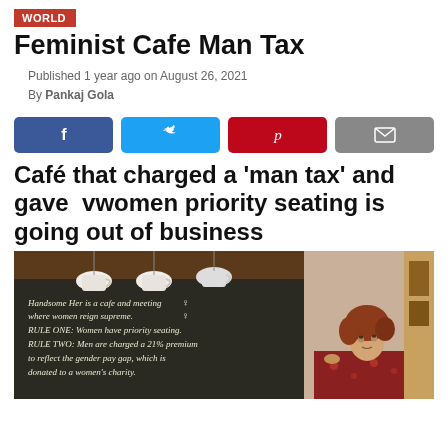WORLD
Feminist Cafe Man Tax
Published 1 year ago on August 26, 2021
By Pankaj Gola
[Figure (other): Social media share buttons: Facebook (blue), Twitter (light blue), Pinterest (red), Email (grey)]
Café that charged a ‘man tax’ and gave  vwomen priority seating is going out of business
[Figure (photo): Photo of a person with red hair leaning against a chalkboard sign that reads: Handsome Her is a cafe and meeting place where women reign supreme. RULE ONE: Women have priority seating. RULE TWO: Men are charged a 21% premium to reflect the gender pay gap, which is donated to a women's charity.]